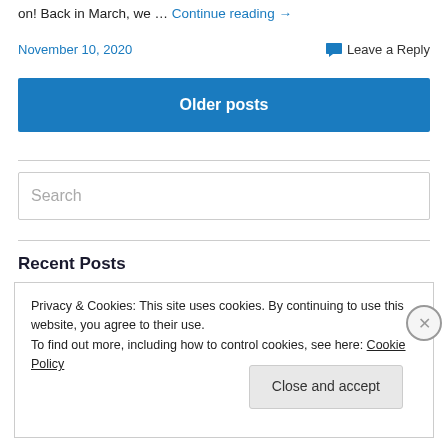on! Back in March, we … Continue reading →
November 10, 2020   Leave a Reply
Older posts
Search
Recent Posts
Privacy & Cookies: This site uses cookies. By continuing to use this website, you agree to their use.
To find out more, including how to control cookies, see here: Cookie Policy
Close and accept